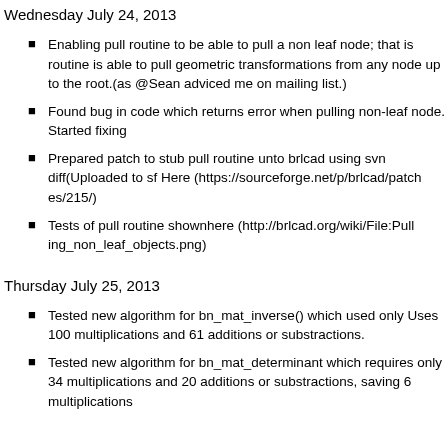Wednesday July 24, 2013
Enabling pull routine to be able to pull a non leaf node; that is routine is able to pull geometric transformations from any node up to the root.(as @Sean adviced me on mailing list.)
Found bug in code which returns error when pulling non-leaf node. Started fixing
Prepared patch to stub pull routine unto brlcad using svn diff(Uploaded to sf Here (https://sourceforge.net/p/brlcad/patches/215/)
Tests of pull routine shownhere (http://brlcad.org/wiki/File:Pulling_non_leaf_objects.png)
Thursday July 25, 2013
Tested new algorithm for bn_mat_inverse() which used only Uses 100 multiplications and 61 additions or substractions.
Tested new algorithm for bn_mat_determinant which requires only 34 multiplications and 20 additions or substractions, saving 6 multiplications